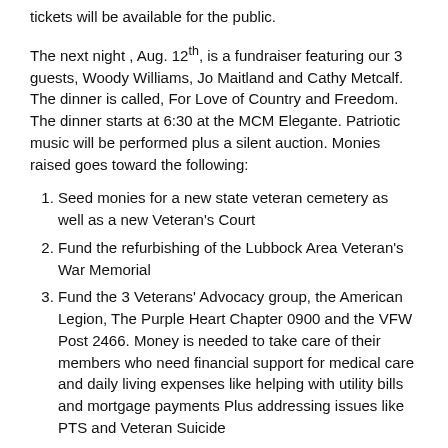tickets will be available for the public.
The next night , Aug. 12th, is a fundraiser featuring our 3 guests, Woody Williams, Jo Maitland and Cathy Metcalf. The dinner is called, For Love of Country and Freedom. The dinner starts at 6:30 at the MCM Elegante. Patriotic music will be performed plus a silent auction. Monies raised goes toward the following:
Seed monies for a new state veteran cemetery as well as a new Veteran's Court
Fund the refurbishing of the Lubbock Area Veteran's War Memorial
Fund the 3 Veterans' Advocacy group, the American Legion, The Purple Heart Chapter 0900 and the VFW Post 2466. Money is needed to take care of their members who need financial support for medical care and daily living expenses like helping with utility bills and mortgage payments Plus addressing issues like PTS and Veteran Suicide
Create a fund for the new Monument of Courage to cover expenses over the next 3 years
Support the expansion of the national Character Development Program of the Model of HONOR Society